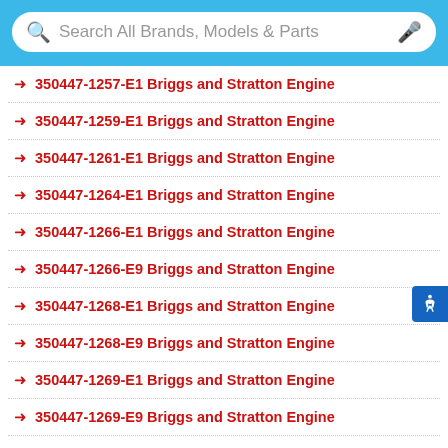[Figure (screenshot): Search bar with blue border, search icon, placeholder text 'Search All Brands, Models & Parts', and microphone icon]
350447-1257-E1 Briggs and Stratton Engine
350447-1259-E1 Briggs and Stratton Engine
350447-1261-E1 Briggs and Stratton Engine
350447-1264-E1 Briggs and Stratton Engine
350447-1266-E1 Briggs and Stratton Engine
350447-1266-E9 Briggs and Stratton Engine
350447-1268-E1 Briggs and Stratton Engine
350447-1268-E9 Briggs and Stratton Engine
350447-1269-E1 Briggs and Stratton Engine
350447-1269-E9 Briggs and Stratton Engine
350447-1273-E1 Briggs and Stratton Engine
350447-1274-E1 Briggs and Stratton Engine